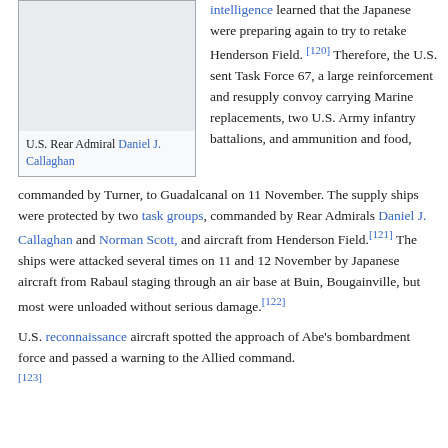[Figure (photo): Photo placeholder of U.S. Rear Admiral Daniel J. Callaghan]
U.S. Rear Admiral Daniel J. Callaghan
intelligence learned that the Japanese were preparing again to try to retake Henderson Field.[120] Therefore, the U.S. sent Task Force 67, a large reinforcement and resupply convoy carrying Marine replacements, two U.S. Army infantry battalions, and ammunition and food, commanded by Turner, to Guadalcanal on 11 November. The supply ships were protected by two task groups, commanded by Rear Admirals Daniel J. Callaghan and Norman Scott, and aircraft from Henderson Field.[121] The ships were attacked several times on 11 and 12 November by Japanese aircraft from Rabaul staging through an air base at Buin, Bougainville, but most were unloaded without serious damage.[122]
U.S. reconnaissance aircraft spotted the approach of Abe's bombardment force and passed a warning to the Allied command.[123]